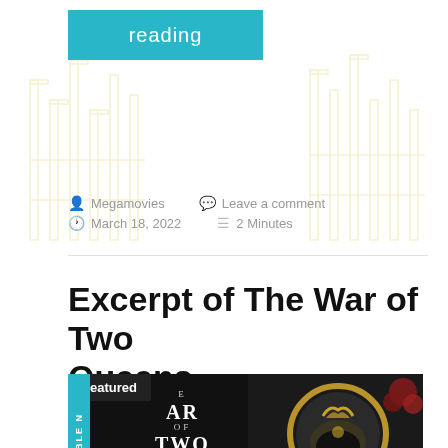reading
Megamovies   Leave a comment
March 18, 2022   2 Minutes
Excerpt of The War of Two Queens
[Figure (photo): Blog tour banner for The War of Two Queens by Jennifer L. Armentrout. Dark background with a golden dragon medallion and red roses. Text reads: Featured, AVAILABLE NOW, THE WAR OF TWO QUEENS, JENNIFER L. ARMENTROUT, BLOG TOUR MARCH 16th-18th.]